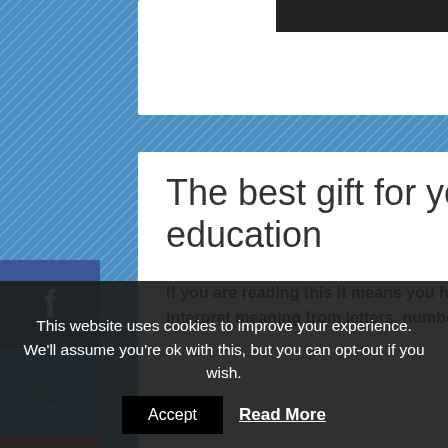The best gift for your children is good education
If you are reading this it means you have received a given level of education. It shows that you can interpret meaning from letters, numbers and even symbols. In the current
This website uses cookies to improve your experience. We'll assume you're ok with this, but you can opt-out if you wish.
Accept   Read More